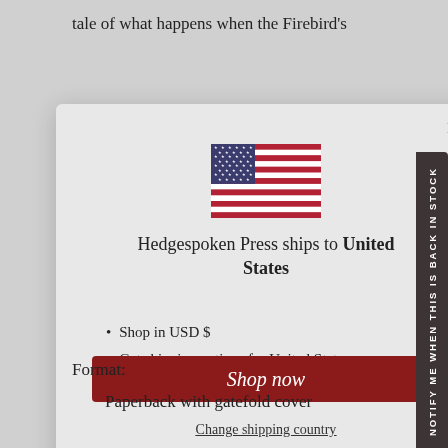tale of what happens when the Firebird's
[Figure (screenshot): Modal dialog popup from Hedgespoken Press website showing a US flag, shipping information for United States, list items about USD and shipping options, a dark red 'Shop now' button, and a 'Change shipping country' link. A dark sidebar tab on the right reads 'NOTIFY ME WHEN THIS IS BACK IN STOCK'.]
Format:
Paperback with gatefold cover